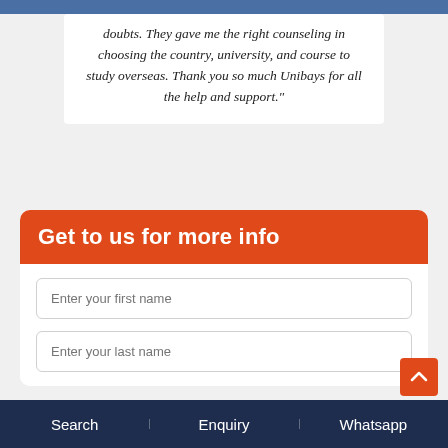doubts. They gave me the right counseling in choosing the country, university, and course to study overseas. Thank you so much Unibays for all the help and support."
Get to us for more info
Enter your first name
Enter your last name
Search | Enquiry | Whatsapp